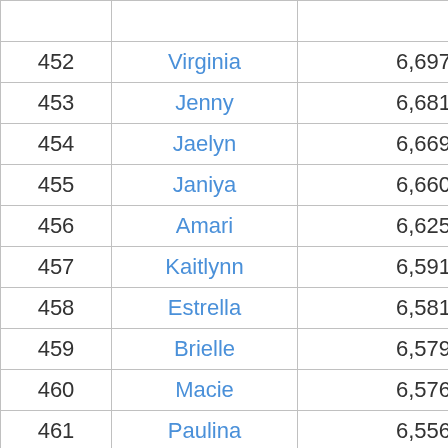| Rank | Name | Count |
| --- | --- | --- |
| 452 | Virginia | 6,697 |
| 453 | Jenny | 6,681 |
| 454 | Jaelyn | 6,669 |
| 455 | Janiya | 6,660 |
| 456 | Amari | 6,625 |
| 457 | Kaitlynn | 6,591 |
| 458 | Estrella | 6,581 |
| 459 | Brielle | 6,579 |
| 460 | Macie | 6,576 |
| 461 | Paulina | 6,556 |
| 462 | Jaqueline | 6,546 |